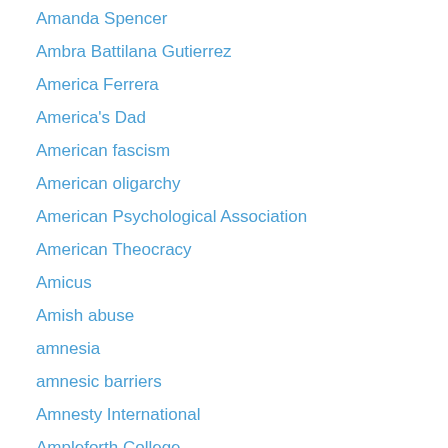Amanda Spencer
Ambra Battilana Gutierrez
America Ferrera
America's Dad
American fascism
American oligarchy
American Psychological Association
American Theocracy
Amicus
Amish abuse
amnesia
amnesic barriers
Amnesty International
Ampleforth College
Amy Berg
Ana Kriégel murder
Anders Behring Breivik
Anders Kompass
Andrea Constand
Andrea Costand